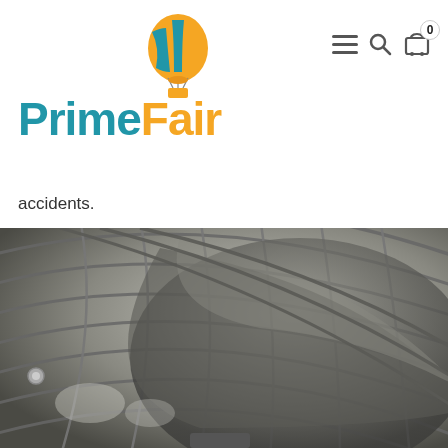[Figure (logo): PrimeFair logo with hot air balloon icon above the text. 'Prime' in teal/blue, 'Fair' in orange.]
accidents.
[Figure (photo): Close-up photo of a metallic industrial fan showing the protective wire grille and spinning fan blades in dark metallic tones.]